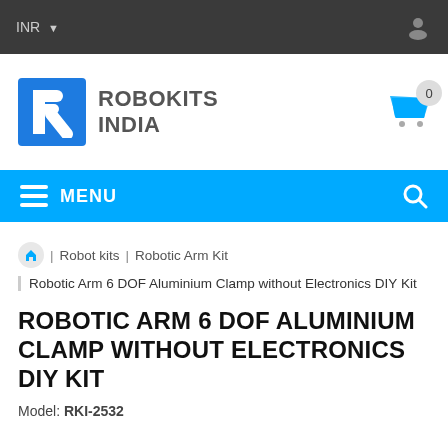INR
[Figure (logo): Robokits India logo with blue R icon and gray ROBOKITS INDIA text]
MENU
Robot kits | Robotic Arm Kit
Robotic Arm 6 DOF Aluminium Clamp without Electronics DIY Kit
ROBOTIC ARM 6 DOF ALUMINIUM CLAMP WITHOUT ELECTRONICS DIY KIT
Model: RKI-2532